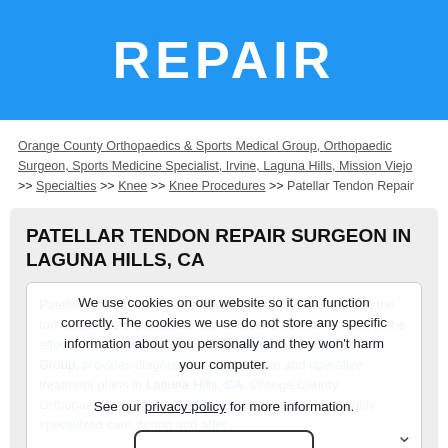REPAIR
Orange County Orthopaedics & Sports Medical Group, Orthopaedic Surgeon, Sports Medicine Specialist, Irvine, Laguna Hills, Mission Viejo >> Specialties >> Knee >> Knee Procedures >> Patellar Tendon Repair
PATELLAR TENDON REPAIR SURGEON IN LAGUNA HILLS, CA
Patellar tendon repair is the surgery performed to reattach the torn tendon to the kneecap and to restore normal function in the affected leg. Orange County Orthopaedics & Sports Medical Group, provides diagnostic, non-operative and operative treatment plans in Laguna Hills, CA. Orange County Orthopaedics & Sports Medical Group also provides highly specialized care during and after
We use cookies on our website so it can function correctly. The cookies we use do not store any specific information about you personally and they won't harm your computer.

See our privacy policy for more information.

Accept